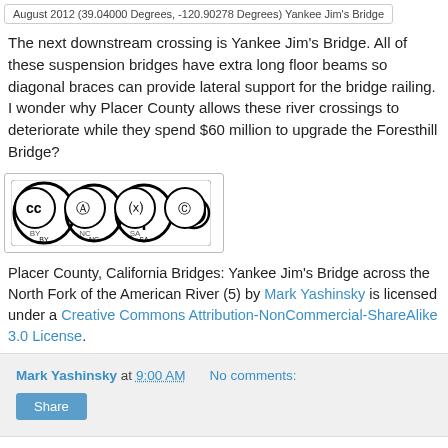August 2012 (39.04000 Degrees, -120.90278 Degrees) Yankee Jim's Bridge
The next downstream crossing is Yankee Jim's Bridge. All of these suspension bridges have extra long floor beams so diagonal braces can provide lateral support for the bridge railing. I wonder why Placer County allows these river crossings to deteriorate while they spend $60 million to upgrade the Foresthill Bridge?
[Figure (logo): Creative Commons CC BY-NC-SA license badge]
Placer County, California Bridges: Yankee Jim's Bridge across the North Fork of the American River (5) by Mark Yashinsky is licensed under a Creative Commons Attribution-NonCommercial-ShareAlike 3.0 License.
Mark Yashinsky at 9:00 AM   No comments:
Share
Monday, November 19, 2012
Placer County, California Bridges: Iowa